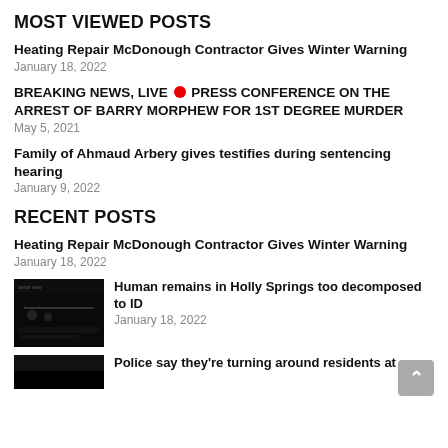MOST VIEWED POSTS
Heating Repair McDonough Contractor Gives Winter Warning
January 18, 2022
BREAKING NEWS, LIVE 🔴 PRESS CONFERENCE ON THE ARREST OF BARRY MORPHEW FOR 1ST DEGREE MURDER
May 5, 2021
Family of Ahmaud Arbery gives testifies during sentencing hearing
January 9, 2022
RECENT POSTS
Heating Repair McDonough Contractor Gives Winter Warning
January 18, 2022
Human remains in Holly Springs too decomposed to ID
January 18, 2022
Police say they're turning around residents at…